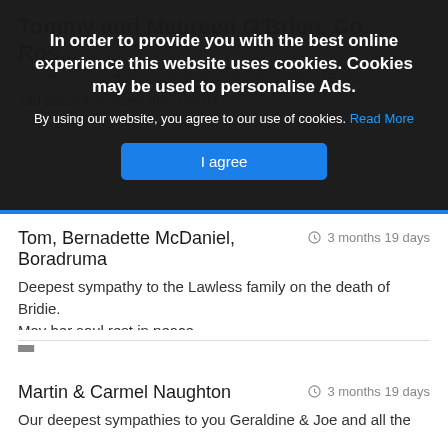[Figure (screenshot): Cookie consent overlay with dark background showing cookie notice text, 'I agree' button, and partially visible page content behind it.]
In order to provide you with the best online experience this website uses cookies. Cookies may be used to personalise Ads.
By using our website, you agree to our use of cookies. Read More
I agree
Tom, Bernadette McDaniel, Boradruma   3 months 19 days
Deepest sympathy to the Lawless family on the death of Bridie.
May her soul rest in peace
Martin & Carmel Naughton   3 months 19 days
Our deepest sympathies to you Geraldine & Joe and all the